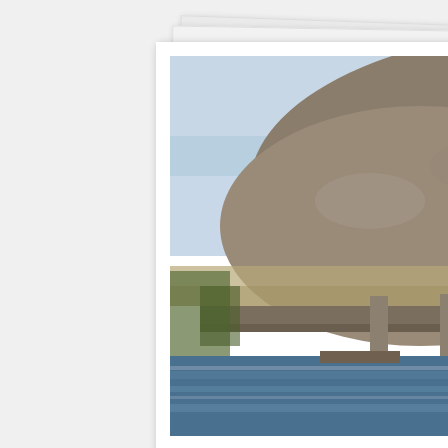[Figure (photo): Photograph of the commercial port at Delos, Greece, showing ancient stone columns and ruins at the waterfront, with a rocky hillside rising behind and the blue sea in the foreground.]
Commercial port
[Figure (photo): Photograph of a rocky hill landscape at Delos, Greece, showing a broad hillside with ancient ruins and structures at its base, under a blue sky with light clouds.]